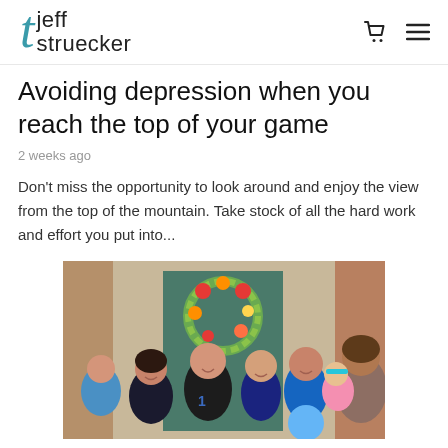jeff struecker
Avoiding depression when you reach the top of your game
2 weeks ago
Don't miss the opportunity to look around and enjoy the view from the top of the mountain. Take stock of all the hard work and effort you put into...
[Figure (photo): Group family photo of approximately 8-9 people standing in front of a door with a floral wreath. People of various ages including children and adults, some wearing sports jerseys.]